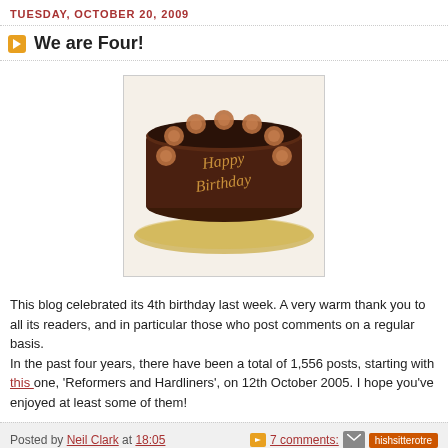TUESDAY, OCTOBER 20, 2009
We are Four!
[Figure (photo): A chocolate birthday cake with 'Happy Birthday' written in frosting, decorated with swirl rosettes around the edge, sitting on a gold plate.]
This blog celebrated its 4th birthday last week. A very warm thank you to all its readers, and in particular those who post comments on a regular basis.
In the past four years, there have been a total of 1,556 posts, starting with this one, 'Reformers and Hardliners', on 12th October 2005. I hope you've enjoyed at least some of them!
Posted by Neil Clark at 18:05   7 comments:
SUNDAY, OCTOBER 18, 2009